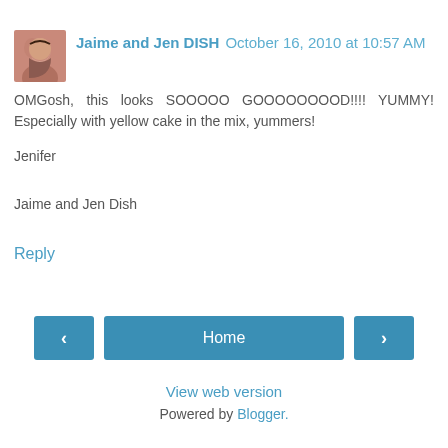[Figure (photo): Small avatar/profile photo of two women]
Jaime and Jen DISH October 16, 2010 at 10:57 AM
OMGosh, this looks SOOOOO GOOOOOOOOD!!!! YUMMY! Especially with yellow cake in the mix, yummers!

Jenifer

Jaime and Jen Dish
Reply
Home
View web version
Powered by Blogger.